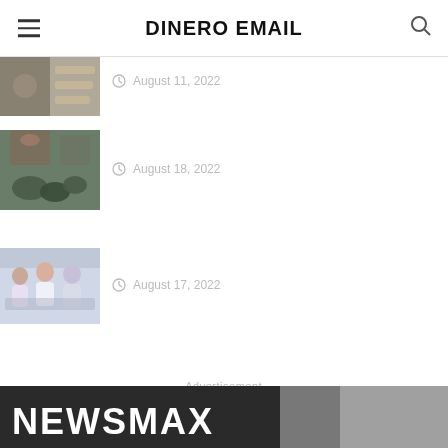DINERO EMAIL
August 18, 2022
[Figure (photo): Hand packaging cannabis/herbs into small jars]
August 17, 2022
[Figure (photo): Customer service representatives working at computers with headsets]
– Advertisement –
[Figure (photo): NEWSMAX logo banner with person in background]